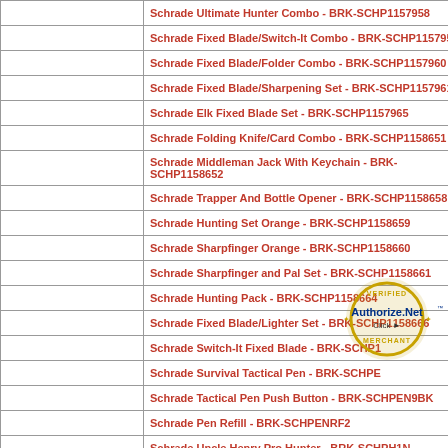| [image] | Product Name - SKU |
| --- | --- |
|  | Schrade Ultimate Hunter Combo - BRK-SCHP1157958 |
|  | Schrade Fixed Blade/Switch-It Combo - BRK-SCHP1157959 |
|  | Schrade Fixed Blade/Folder Combo - BRK-SCHP1157960 |
|  | Schrade Fixed Blade/Sharpening Set - BRK-SCHP1157961 |
|  | Schrade Elk Fixed Blade Set - BRK-SCHP1157965 |
|  | Schrade Folding Knife/Card Combo - BRK-SCHP1158651 |
|  | Schrade Middleman Jack With Keychain - BRK-SCHP1158652 |
|  | Schrade Trapper And Bottle Opener - BRK-SCHP1158658 |
|  | Schrade Hunting Set Orange - BRK-SCHP1158659 |
|  | Schrade Sharpfinger Orange - BRK-SCHP1158660 |
|  | Schrade Sharpfinger and Pal Set - BRK-SCHP1158661 |
|  | Schrade Hunting Pack - BRK-SCHP1158664 |
|  | Schrade Fixed Blade/Lighter Set - BRK-SCHP1158666 |
|  | Schrade Switch-It Fixed Blade - BRK-SCHP[obscured] |
|  | Schrade Survival Tactical Pen - BRK-SCHPE[obscured] |
|  | Schrade Tactical Pen Push Button - BRK-SCHPEN9BK |
|  | Schrade Pen Refill - BRK-SCHPENRF2 |
|  | Schrade Uncle Henry Pro Hunter - BRK-SCHPH1N |